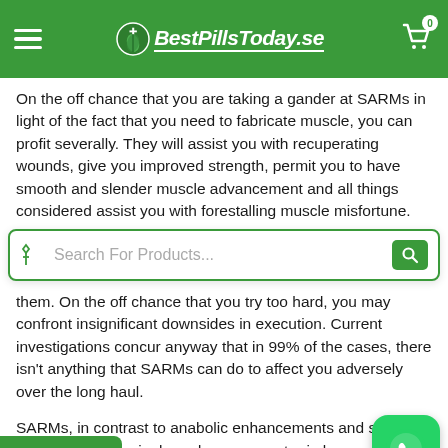BestPillsToday.se
On the off chance that you are taking a gander at SARMs in light of the fact that you need to fabricate muscle, you can profit severally. They will assist you with recuperating wounds, give you improved strength, permit you to have smooth and slender muscle advancement and all things considered assist you with forestalling muscle misfortune.
[Figure (screenshot): Search bar with filter icon on left and search icon on right, placeholder text 'Search For Products...']
them. On the off chance that you try too hard, you may confront insignificant downsides in execution. Current investigations concur anyway that in 99% of the cases, there isn't anything that SARMs can do to affect you adversely over the long haul.
SARMs, in contrast to anabolic enhancements and steroids, can target just a single androgen receptor in b... muscle. This implies that you won't be